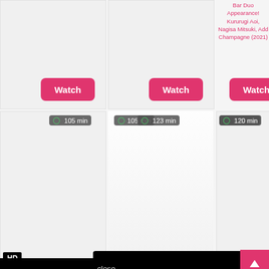Bar Duo Appearance! Kururugi Aoi, Nagisa Mitsuki, Add Champagne (2021)
[Figure (screenshot): Watch button 1 - pink rounded rectangle with white text 'Watch']
[Figure (screenshot): Watch button 2 - pink rounded rectangle with white text 'Watch']
[Figure (screenshot): Watch button 3 - pink rounded rectangle with white text 'Watch']
105 min
123 min
120 min
HD
Are you 18 or older?
close
NO
YES
VEN
-963